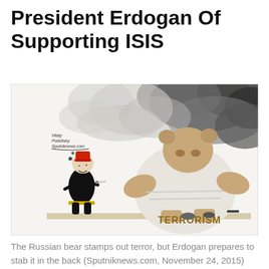President Erdogan Of Supporting ISIS
[Figure (illustration): Political cartoon showing a small figure dressed in Ottoman-style clothing with a red fez hat and knife, facing a large bear in a judo uniform stamping on the word 'TERRORISM'. Dark smoke billows in the background. Signed by Vitaly Podvitsky, Sputniknews.com.]
The Russian bear stamps out terror, but Erdogan prepares to stab it in the back (Sputniknews.com, November 24, 2015)